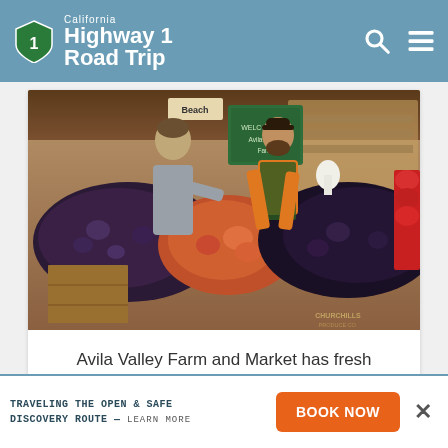California Highway 1 Road Trip
[Figure (photo): Interior of Avila Valley Farm and Market showing a bearded vendor in orange shirt and green apron tending to wooden crates full of dark plums and other stone fruits, with a customer reaching across the display. Background shows shelves of products and a green chalkboard sign.]
Avila Valley Farm and Market has fresh produce stocked year-round.
TRAVELING THE OPEN & SAFE DISCOVERY ROUTE — LEARN MORE
BOOK NOW